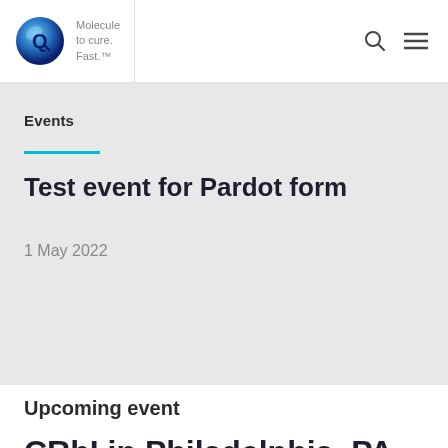[Figure (logo): Quotient Sciences logo — blue sphere with Q letter mark, alongside tagline 'Molecule to cure. Fast.' in grey text]
Events
Test event for Pardot form
1 May 2022
Upcoming event
CRbI in Philadelphia, PA